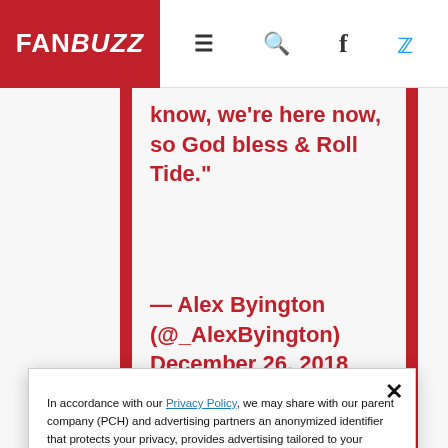FANBUZZ
know, we're here now, so God bless & Roll Tide."
— Alex Byington (@_AlexByington) December 26, 2018
In accordance with our Privacy Policy, we may share with our parent company (PCH) and advertising partners an anonymized identifier that protects your privacy, provides advertising tailored to your interests and gives you access to advertising supported content. Data collected on one of our sites may be used on our other owned and operated sites, which sites are identified in our Privacy Policy. All of our sites are governed by the same Privacy Policy, and by proceeding to access this site, you are consenting to that Privacy Policy.